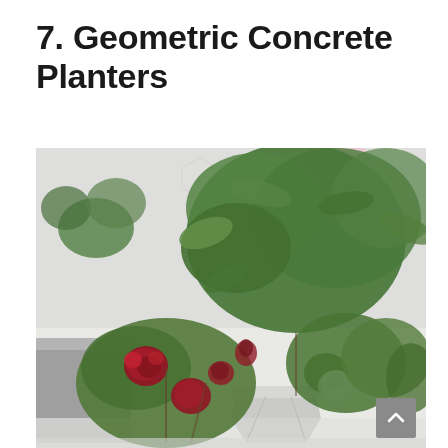7. Geometric Concrete Planters
[Figure (photo): Photo of geometric concrete planters holding rose plants with deep red blooms, white roses, and green foliage arranged on a white surface, with a blurred floral background featuring pink roses and hexagonal tile pattern.]